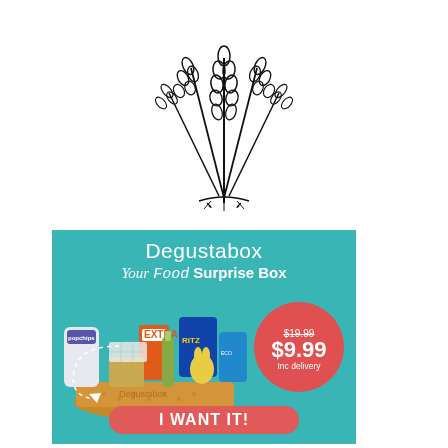[Figure (logo): Black line drawing of wheat stalks bundled together, facing upward like a sheaf of grain.]
[Figure (infographic): Degustabox food subscription advertisement on teal background. Shows 'Degustabox Your Food Surprise Box' title, image of a box overflowing with snack foods (popchips, Extra, Ritz, and other products), a red circle showing price $9.99 (was $19.99) inc delivery, a 'I WANT IT!' red call-to-action button, and a dashed arrow pointing to the box.]